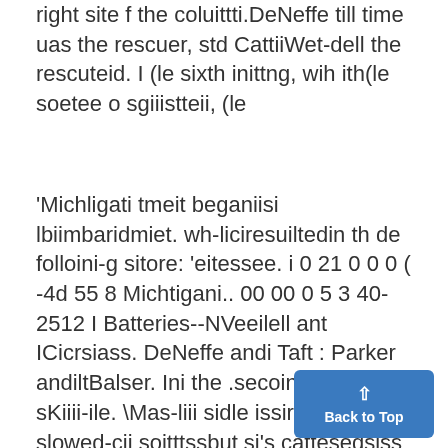right site f the coluittti.DeNeffe till time uas the rescuer, std CattiiWet-dell the rescuteid. I (le sixth inittng, wih ith(le soetee o sgiiistteii, (le
'Michligati tmeit beganiisi lbiimbaridmiet. wh-liciresuiltedin th de folloini-g sitore: 'eitessee. i 0 21 0 0 0 ( -4d 55 8 Michtigani.. 00 00 0 5 3 40-2512 I Batteries--NVeeilell ant ICicrsiass. DeNeffe andi Taft : Parker andiltBalser. Ini the .secoinidganme ust sKiiii-ile. \Mas-liii sidle issirlisg -sdsil slowed-cii soitttssbut si's cattesedsiss it 'a